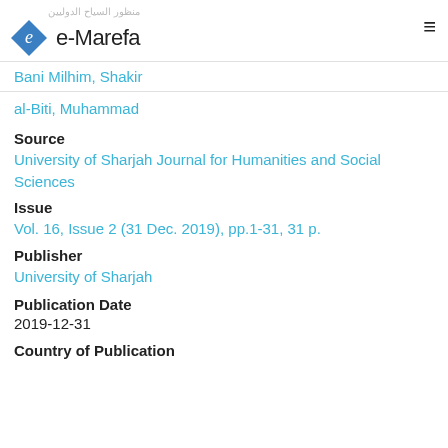منظور السياح الدوليين | e-Marefa
Bani Milhim, Shakir
al-Biti, Muhammad
Source
University of Sharjah Journal for Humanities and Social Sciences
Issue
Vol. 16, Issue 2 (31 Dec. 2019), pp.1-31, 31 p.
Publisher
University of Sharjah
Publication Date
2019-12-31
Country of Publication